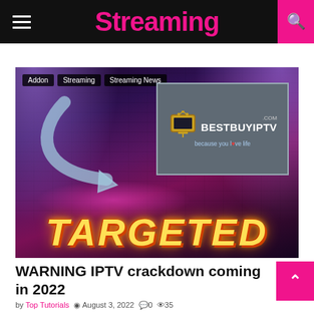Streaming
[Figure (screenshot): Article thumbnail image showing 'TARGETED' text in yellow letters with glow effect, a curved blue arrow pointing to a BestBuyIPTV.com logo on a dark brick wall background with purple spotlights. Tags: Addon, Streaming, Streaming News.]
WARNING IPTV crackdown coming in 2022
by Top Tutorials   August 3, 2022   0   35